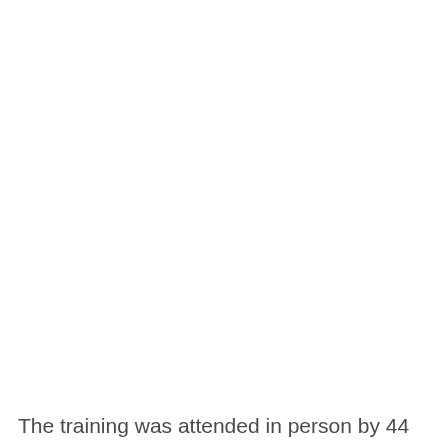The training was attended in person by 44